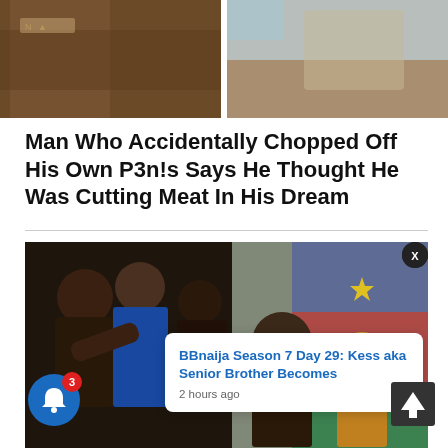[Figure (photo): Two-panel image at top: left panel shows dark skin tones close-up, right panel shows lighter close-up with fabric]
Man Who Accidentally Chopped Off His Own P3n!s Says He Thought He Was Cutting Meat In His Dream
[Figure (photo): Two-panel image below: left panel shows two people in close embrace, one wearing blue, right panel shows people with colorful flag background. Notification overlay shows BBnaija Season 7 Day 29 story.]